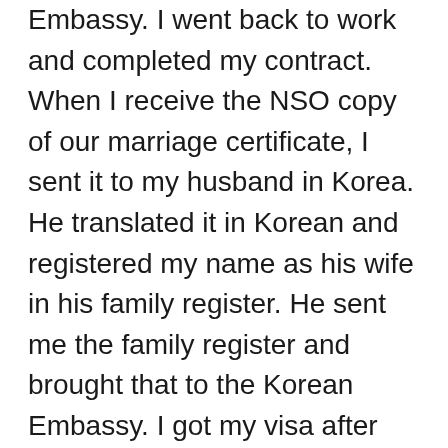Embassy. I went back to work and completed my contract. When I receive the NSO copy of our marriage certificate, I sent it to my husband in Korea. He translated it in Korean and registered my name as his wife in his family register. He sent me the family register and brought that to the Korean Embassy. I got my visa after three days. I headed to the CFO, where they stuck an “Emigrant” sticker on my passport.
CFO stands for Commission on Filipinos Overseas.
Spouses of foreign nationals are required to attend a seminar conducted by the said organization before they could leave the country.
Just a recap. I applied for a tourist visa in May and got denied. My husband flew to the Philippines three weeks later. He quit his job but he luckily got hired by another company the following month. To get married, my...